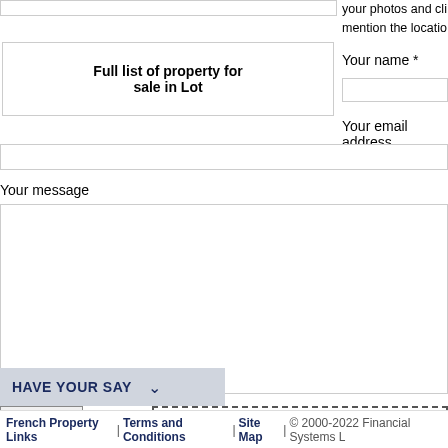your photos and cli... mention the locatio...
Full list of property for sale in Lot
Your name *
Your email address
Your message
Select files
or drop files here
Upload
HAVE YOUR SAY
French Property Links | Terms and Conditions | Site Map | © 2000-2022 Financial Systems L...